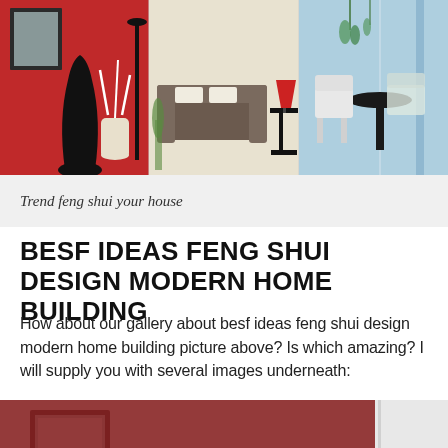[Figure (illustration): Header banner showing three illustrated interior room scenes: left panel with red wall, black vase and mirror; center panel with beige room, grey sofa and red lamp; right panel with blue room, white chairs and black table.]
Trend feng shui your house
BESF IDEAS FENG SHUI DESIGN MODERN HOME BUILDING
How about our gallery about besf ideas feng shui design modern home building picture above? Is which amazing? I will supply you with several images underneath:
[Figure (photo): Bottom portion of a photo showing a room with dark red/burgundy walls, a green leafy plant, a framed picture, and white curtains on the right. A dark scroll-to-top button is visible in the bottom right corner.]